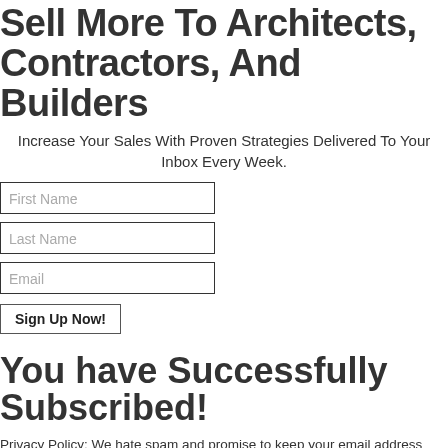Sell More To Architects, Contractors, And Builders
Increase Your Sales With Proven Strategies Delivered To Your Inbox Every Week.
[Figure (other): Sign-up form with fields: First Name, Last Name, Email, and a Sign Up Now! button]
You have Successfully Subscribed!
Privacy Policy: We hate spam and promise to keep your email address safe